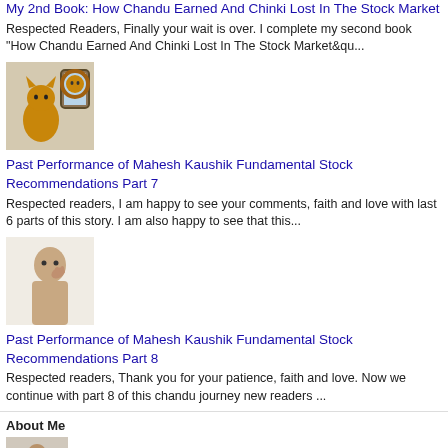My 2nd Book: How Chandu Earned And Chinki Lost In The Stock Market
Respected Readers, Finally your wait is over.  I complete my second book "How Chandu Earned And Chinki Lost In The Stock Market&qu...
[Figure (photo): Photo of a small cat looking at a reflection of a lion in a mirror]
Past Performance of Mahesh Kaushik Fundamental Stock Recommendations Part 7
Respected readers, I am happy to see your comments, faith and love with last 6 parts of this story. I am also happy to see that this...
[Figure (photo): Photo of a man with hand near his face]
Past Performance of Mahesh Kaushik Fundamental Stock Recommendations Part 8
Respected readers,  Thank you for your patience,  faith and love.  Now we continue with part 8 of this chandu journey new readers ...
About Me
[Figure (photo): Small thumbnail photo of Mahesh Chander Kaushik]
Mahesh Chander Kaushik